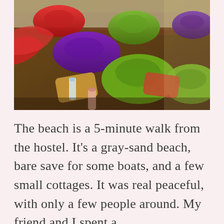[Figure (photo): A photo of colorful bean bag cushions and pillows scattered on a dark wooden floor, with red, purple, and green bean bags visible, along with a water bottle in the foreground.]
The beach is a 5-minute walk from the hostel. It's a gray-sand beach, bare save for some boats, and a few small cottages. It was real peaceful, with only a few people around. My friend and I spent a